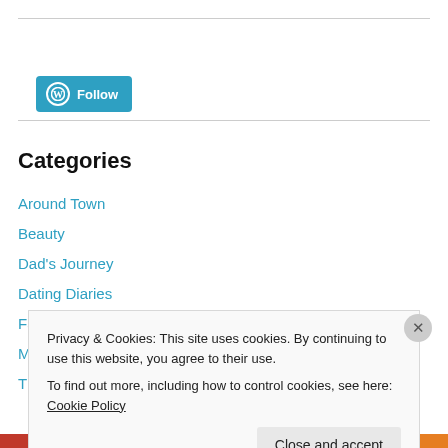[Figure (logo): WordPress Follow button with W icon in blue/teal]
Categories
Around Town
Beauty
Dad's Journey
Dating Diaries
Fashion
My Bucket List of Bands
Privacy & Cookies: This site uses cookies. By continuing to use this website, you agree to their use.
To find out more, including how to control cookies, see here: Cookie Policy
Close and accept